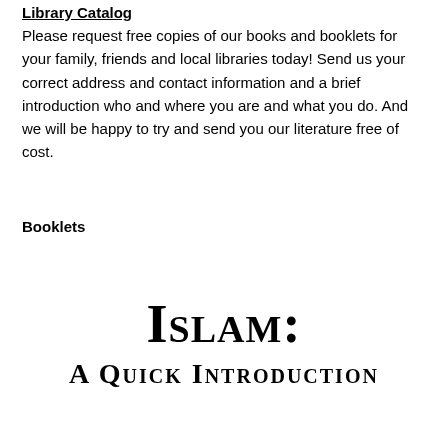Library Catalog
Please request free copies of our books and booklets for your family, friends and local libraries today! Send us your correct address and contact information and a brief introduction who and where you are and what you do. And we will be happy to try and send you our literature free of cost.
Booklets
Islam: A Quick Introduction